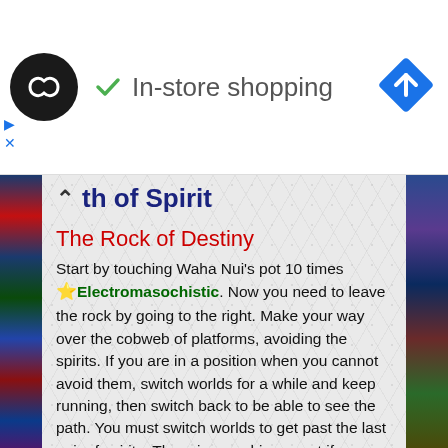[Figure (screenshot): Ad banner with circular logo, 'In-store shopping' text with checkmark, and blue navigation diamond icon]
th of Spirit
The Rock of Destiny
Start by touching Waha Nui's pot 10 times 🌟Electromasochistic. Now you need to leave the rock by going to the right. Make your way over the cobweb of platforms, avoiding the spirits. If you are in a position when you cannot avoid them, switch worlds for a while and keep running, then switch back to be able to see the path. You must switch worlds to get past the last pair of spirits. There is an achievement if you only switch worlds up to 5 times 🌟Only in the leap from the lion's head will he prove his worth.
Pentatonic Canyon
Look at the door and the cracked stones, then switch worlds and interact with the 4 creatures. Stand on the central platform